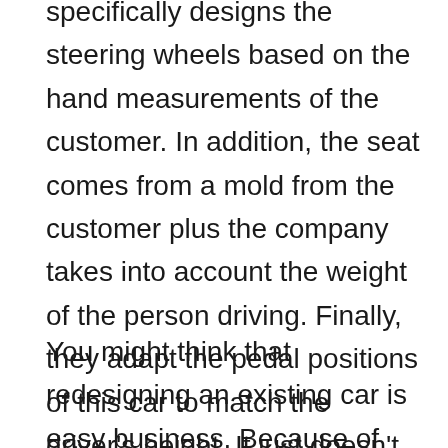specifically designs the steering wheels based on the hand measurements of the customer. In addition, the seat comes from a mold from the customer plus the company takes into account the weight of the person driving. Finally, they adapt the pedal positions of this car to match the driver's height. It just doesn't get much more customized than that.
You might think that redesigning an existing car is easy business. Because of that, it might surprise you to know that the first Diablo Coatl took four years to design and build. It was first launched under the